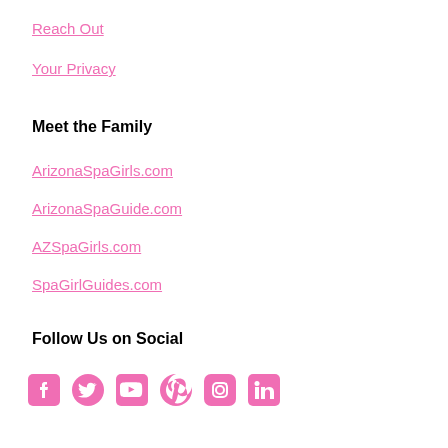Reach Out
Your Privacy
Meet the Family
ArizonaSpaGirls.com
ArizonaSpaGuide.com
AZSpaGirls.com
SpaGirlGuides.com
Follow Us on Social
[Figure (infographic): Row of six pink social media icons: Facebook, Twitter, YouTube, Pinterest, Instagram, LinkedIn]